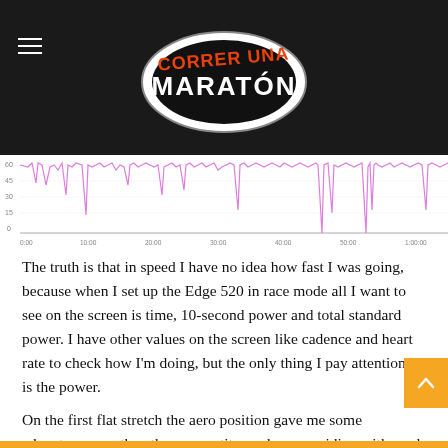[Figure (logo): Correr Una Maraton logo — shoe-shaped oval with bold stylized text in orange and black on dark background]
[Figure (continuous-plot): Speed/power data chart showing spiky pink/magenta waveform on white background with y-axis on left and x-axis along bottom with time markers]
The truth is that in speed I have no idea how fast I was going, because when I set up the Edge 520 in race mode all I want to see on the screen is time, 10-second power and total standard power. I have other values on the screen like cadence and heart rate to check how I'm doing, but the only thing I pay attention to is the power.
On the first flat stretch the aero position gave me some advantage over the other competitors who were riding with road handlebars. I overtook several riders and only lost